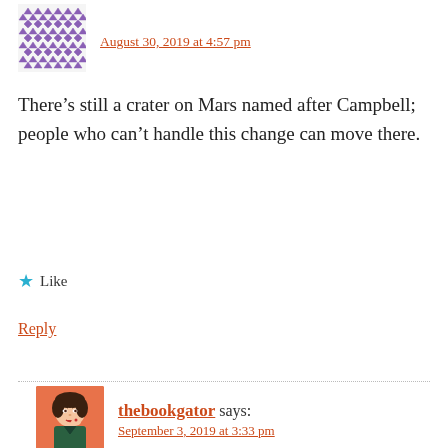[Figure (illustration): Purple geometric/quilt-pattern avatar icon for a commenter]
August 30, 2019 at 4:57 pm
There’s still a crater on Mars named after Campbell; people who can’t handle this change can move there.
★ Like
Reply
[Figure (illustration): Retro illustration avatar of a woman with red/orange background for thebookgator]
thebookgator says:
September 3, 2019 at 3:33 pm
You are all missing the point through willful exaggeration. Changing an award that isn’t created